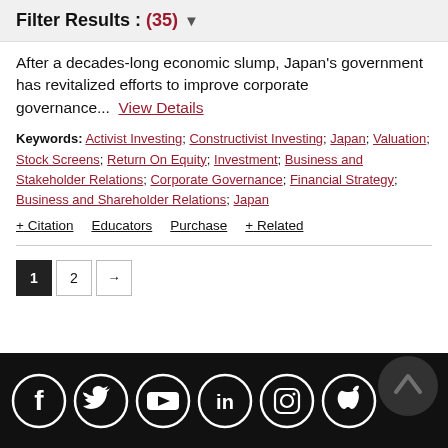Filter Results : (35) ▼
After a decades-long economic slump, Japan's government has revitalized efforts to improve corporate governance... View Details
Keywords: Activist Investing; Constructivist Investing; Japan; Valuation; Stock Screens; Return On Equity; Investment; Business and Stakeholder Relations; Corporate Governance; Financial Strategy; Business and Shareholder Relations; Japan
+ Citation   Educators   Purchase   + Related
1  2  →
[Figure (other): Social media icons row (Facebook, Twitter, YouTube, LinkedIn, Instagram, Apple) in white circles on black footer bar, with a scroll-to-top arrow circle on the right]